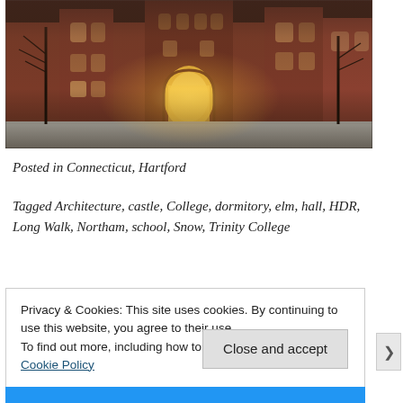[Figure (photo): Exterior photograph of a large red-brick Gothic Revival university building (Trinity College, Hartford, Connecticut) in winter with snow on the ground, warm light glowing through a central arched entrance.]
Posted in Connecticut, Hartford
Tagged Architecture, castle, College, dormitory, elm, hall, HDR, Long Walk, Northam, school, Snow, Trinity College
Privacy & Cookies: This site uses cookies. By continuing to use this website, you agree to their use.
To find out more, including how to control cookies, see here: Cookie Policy
Close and accept